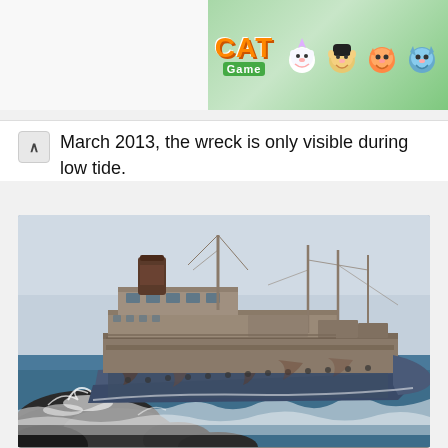[Figure (photo): Cat Game mobile app advertisement banner with colorful cat characters on green background]
March 2013, the wreck is only visible during low tide.
[Figure (photo): Photograph of a large abandoned rusted shipwreck run aground on rocky coast with waves crashing around it. The ship is a large ocean liner, heavily rusted and deteriorated, listing slightly. Rocky foreground with white surf, blue sky background.]